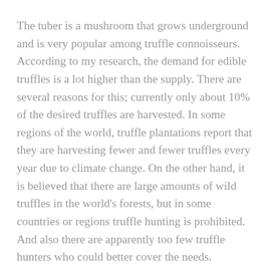The tuber is a mushroom that grows underground and is very popular among truffle connoisseurs. According to my research, the demand for edible truffles is a lot higher than the supply. There are several reasons for this; currently only about 10% of the desired truffles are harvested. In some regions of the world, truffle plantations report that they are harvesting fewer and fewer truffles every year due to climate change. On the other hand, it is believed that there are large amounts of wild truffles in the world's forests, but in some countries or regions truffle hunting is prohibited. And also there are apparently too few truffle hunters who could better cover the needs. Meanwhile, there are slowly more farmers from central or northern European countries who want to grow truffles.